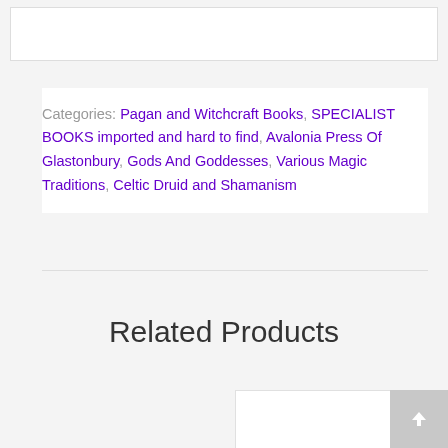Categories: Pagan and Witchcraft Books, SPECIALIST BOOKS imported and hard to find, Avalonia Press Of Glastonbury, Gods And Goddesses, Various Magic Traditions, Celtic Druid and Shamanism
Related Products
[Figure (photo): Product image placeholder box]